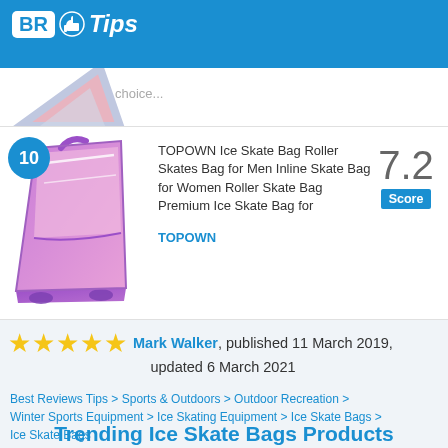BR Tips
[Figure (screenshot): Partially visible previous product item with pink/grey bag image]
[Figure (photo): TOPOWN purple and pink ice skate bag product photo with rank badge 10]
TOPOWN Ice Skate Bag Roller Skates Bag for Men Inline Skate Bag for Women Roller Skate Bag Premium Ice Skate Bag for
TOPOWN
7.2 Score
★★★★★ Mark Walker, published 11 March 2019, updated 6 March 2021
Best Reviews Tips > Sports & Outdoors > Outdoor Recreation > Winter Sports Equipment > Ice Skating Equipment > Ice Skate Bags > Ice Skate Bags
Trending Ice Skate Bags Products